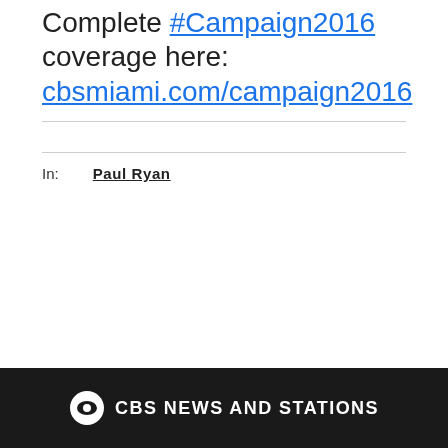Complete #Campaign2016 coverage here: cbsmiami.com/campaign2016
In: Paul Ryan
First published on October 19, 2016 / 5:00 PM
© 2016 CBS Broadcasting Inc. All Rights Reserved.
CBS NEWS AND STATIONS